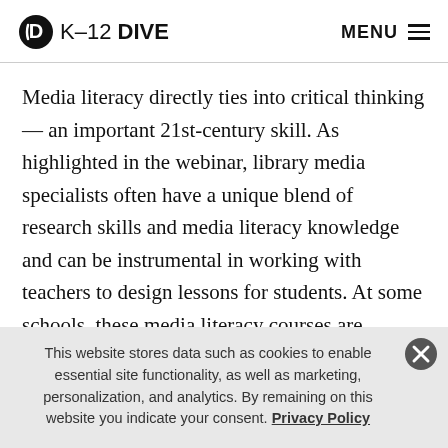K-12 DIVE  MENU
Media literacy directly ties into critical thinking — an important 21st-century skill. As highlighted in the webinar, library media specialists often have a unique blend of research skills and media literacy knowledge and can be instrumental in working with teachers to design lessons for students. At some schools, these media literacy courses are already bearing fruit. Researchers at several universities are also creating curriculum that is helping students to decide if a news site is credible or not
This website stores data such as cookies to enable essential site functionality, as well as marketing, personalization, and analytics. By remaining on this website you indicate your consent. Privacy Policy